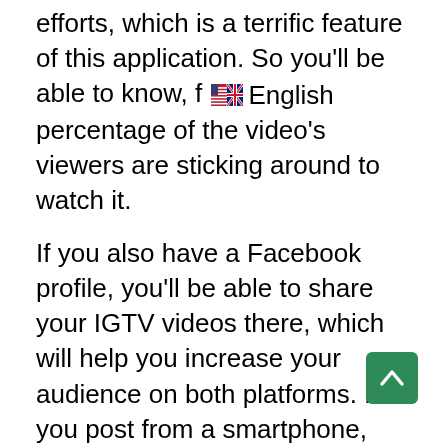efforts, which is a terrific feature of this application. So you'll be able to know, f [flag: English] percentage of the video's viewers are sticking around to watch it.
If you also have a Facebook profile, you'll be able to share your IGTV videos there, which will help you increase your audience on both platforms. If you post from a smartphone, your video can be up to 15 minutes long, but if you upload it from a desktop, it can be up to an hour long.
However, it must be at least one minute long. Some themes perform exceptionally well on Instagram, particularly those that lend themselves nicely to photographs, such as food, beauty, travel,